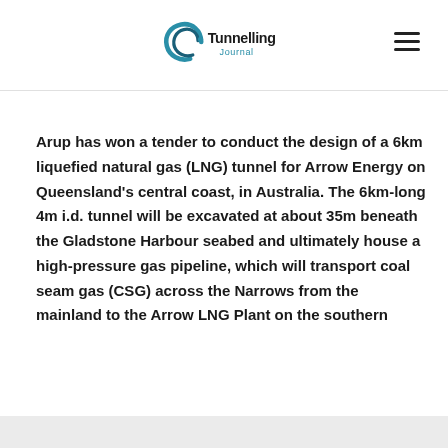[Figure (logo): Tunnelling Journal logo with a circular swoosh graphic in blue/teal and the text 'Tunnelling Journal']
Arup has won a tender to conduct the design of a 6km liquefied natural gas (LNG) tunnel for Arrow Energy on Queensland's central coast, in Australia. The 6km-long 4m i.d. tunnel will be excavated at about 35m beneath the Gladstone Harbour seabed and ultimately house a high-pressure gas pipeline, which will transport coal seam gas (CSG) across the Narrows from the mainland to the Arrow LNG Plant on the southern